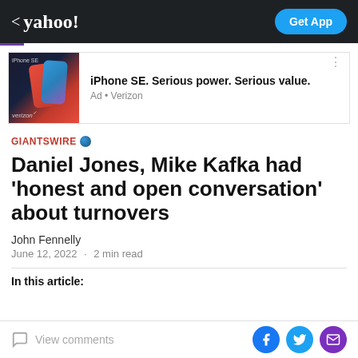< yahoo!  Get App
[Figure (screenshot): iPhone SE advertisement banner showing iPhone SE devices. Text: iPhone SE. Serious power. Serious value. Ad • Verizon]
GIANTSWIRE
Daniel Jones, Mike Kafka had 'honest and open conversation' about turnovers
John Fennelly
June 12, 2022  ·  2 min read
In this article:
View comments